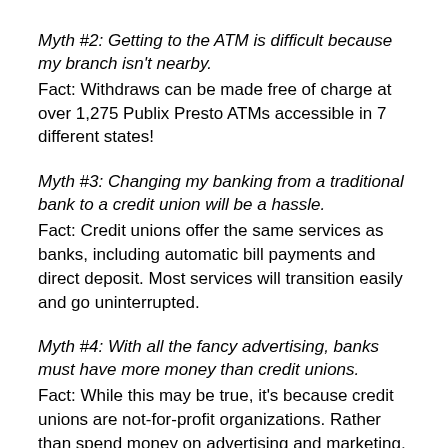Myth #2: Getting to the ATM is difficult because my branch isn't nearby.
Fact: Withdraws can be made free of charge at over 1,275 Publix Presto ATMs accessible in 7 different states!
Myth #3: Changing my banking from a traditional bank to a credit union will be a hassle.
Fact: Credit unions offer the same services as banks, including automatic bill payments and direct deposit. Most services will transition easily and go uninterrupted.
Myth #4: With all the fancy advertising, banks must have more money than credit unions.
Fact: While this may be true, it's because credit unions are not-for-profit organizations. Rather than spend money on advertising and marketing, credit